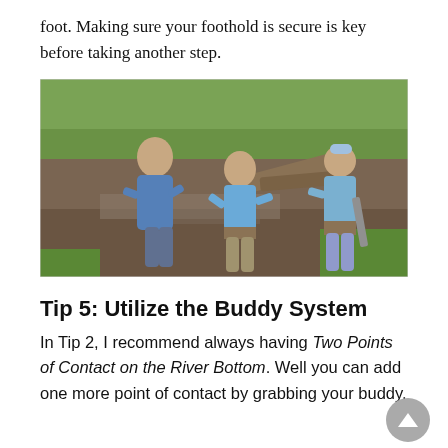foot. Making sure your foothold is secure is key before taking another step.
[Figure (photo): Three people wearing waders working in a muddy stream or river area with green grass and logs in the background.]
Tip 5: Utilize the Buddy System
In Tip 2, I recommend always having Two Points of Contact on the River Bottom. Well you can add one more point of contact by grabbing your buddy.